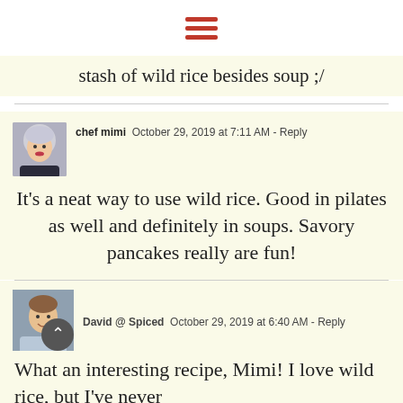hamburger menu icon
stash of wild rice besides soup ;/
chef mimi  October 29, 2019 at 7:11 AM - Reply
It's a neat way to use wild rice. Good in pilates as well and definitely in soups. Savory pancakes really are fun!
David @ Spiced  October 29, 2019 at 6:40 AM - Reply
What an interesting recipe, Mimi! I love wild rice, but I've never